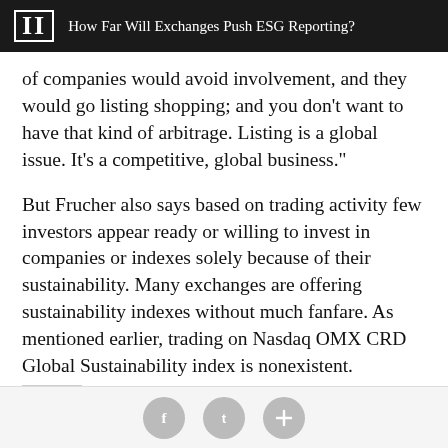II   How Far Will Exchanges Push ESG Reporting?
of companies would avoid involvement, and they would go listing shopping; and you don’t want to have that kind of arbitrage. Listing is a global issue. It’s a competitive, global business.”
But Frucher also says based on trading activity few investors appear ready or willing to invest in companies or indexes solely because of their sustainability. Many exchanges are offering sustainability indexes without much fanfare. As mentioned earlier, trading on Nasdaq OMX CRD Global Sustainability index is nonexistent.
Social sharing buttons: Facebook, Twitter, Plus